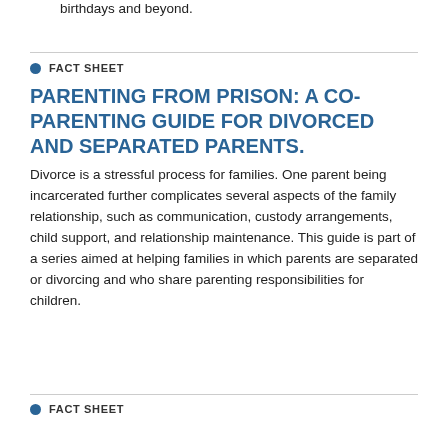birthdays and beyond.
● FACT SHEET
PARENTING FROM PRISON: A CO-PARENTING GUIDE FOR DIVORCED AND SEPARATED PARENTS.
Divorce is a stressful process for families. One parent being incarcerated further complicates several aspects of the family relationship, such as communication, custody arrangements, child support, and relationship maintenance. This guide is part of a series aimed at helping families in which parents are separated or divorcing and who share parenting responsibilities for children.
● FACT SHEET